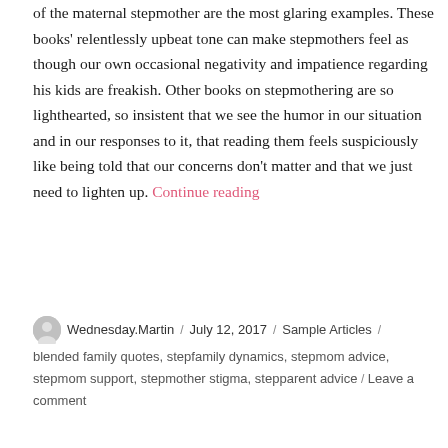of the maternal stepmother are the most glaring examples. These books' relentlessly upbeat tone can make stepmothers feel as though our own occasional negativity and impatience regarding his kids are freakish. Other books on stepmothering are so lighthearted, so insistent that we see the humor in our situation and in our responses to it, that reading them feels suspiciously like being told that our concerns don't matter and that we just need to lighten up. Continue reading
Wednesday.Martin / July 12, 2017 / Sample Articles / blended family quotes, stepfamily dynamics, stepmom advice, stepmom support, stepmother stigma, stepparent advice / Leave a comment